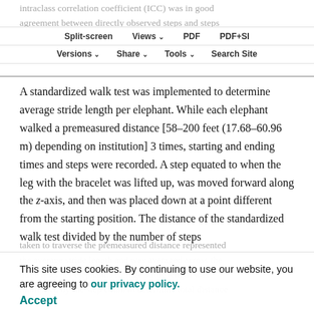intraclass correlation coefficient (ICC) was in good agreement between directly observed steps and steps counted by the accelerometer [ICC (2,1)=0.987, P<0.0001].
Split-screen | Views | PDF | PDF+SI | Versions | Share | Tools | Search Site
A standardized walk test was implemented to determine average stride length per elephant. While each elephant walked a premeasured distance [58–200 feet (17.68–60.96 m) depending on institution] 3 times, starting and ending times and steps were recorded. A step equated to when the leg with the bracelet was lifted up, was moved forward along the z-axis, and then was placed down at a point different from the starting position. The distance of the standardized walk test divided by the number of steps
taken to traverse the premeasured distance represented this the average stride length and was averaged across the three tests per elephant. Average stride length was multiplied by the step count to determine total distance
This site uses cookies. By continuing to use our website, you are agreeing to our privacy policy.
Accept